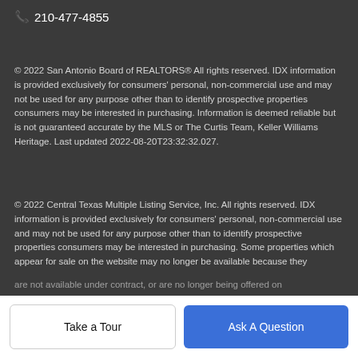📞 210-477-4855
© 2022 San Antonio Board of REALTORS® All rights reserved. IDX information is provided exclusively for consumers' personal, non-commercial use and may not be used for any purpose other than to identify prospective properties consumers may be interested in purchasing. Information is deemed reliable but is not guaranteed accurate by the MLS or The Curtis Team, Keller Williams Heritage. Last updated 2022-08-20T23:32:32.027.
© 2022 Central Texas Multiple Listing Service, Inc. All rights reserved. IDX information is provided exclusively for consumers' personal, non-commercial use and may not be used for any purpose other than to identify prospective properties consumers may be interested in purchasing. Some properties which appear for sale on the website may no longer be available because they are not available under contract, or are no longer being offered on
are not available under contract, or are no longer being offered on
Take a Tour
Ask A Question